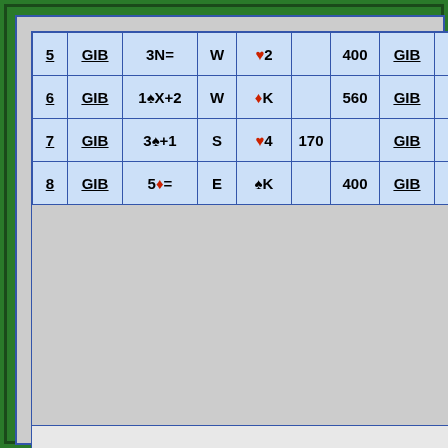| # | Declarer | Contract | Dir | Lead | NS | EW | Declarer | Score |
| --- | --- | --- | --- | --- | --- | --- | --- | --- |
| 5 | GIB | 3N= | W | ♥2 |  | 400 | GIB | -14 |
| 6 | GIB | 1♠X+2 | W | ♦K |  | 560 | GIB | 0 |
| 7 | GIB | 3♠+1 | S | ♥4 | 170 |  | GIB | 8 |
| 8 | GIB | 5♦= | E | ♠K |  | 400 | GIB | -16 |